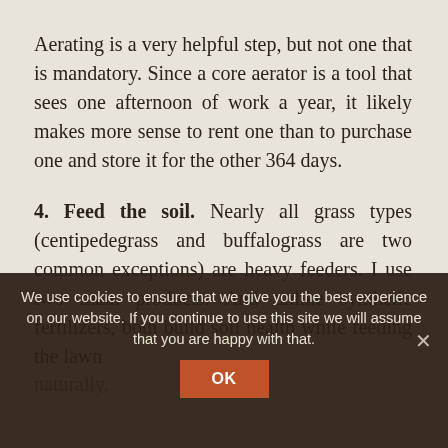Aerating is a very helpful step, but not one that is mandatory. Since a core aerator is a tool that sees one afternoon of work a year, it likely makes more sense to rent one than to purchase one and store it for the other 364 days.
4. Feed the soil. Nearly all grass types (centipedegrass and buffalograss are two common exceptions) are heavy feeders. I use two main products. And unlike synthetic fertilizers, both build soil health while feeding the lawn naturally.
We use cookies to ensure that we give you the best experience on our website. If you continue to use this site we will assume that you are happy with that.